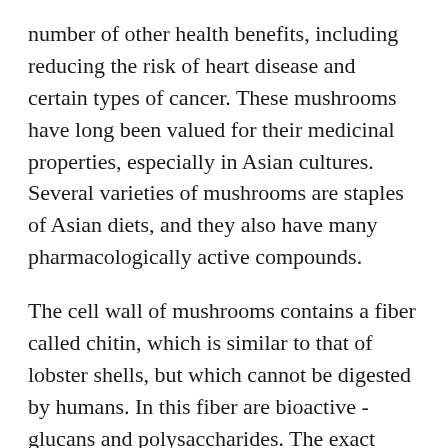number of other health benefits, including reducing the risk of heart disease and certain types of cancer. These mushrooms have long been valued for their medicinal properties, especially in Asian cultures. Several varieties of mushrooms are staples of Asian diets, and they also have many pharmacologically active compounds.
The cell wall of mushrooms contains a fiber called chitin, which is similar to that of lobster shells, but which cannot be digested by humans. In this fiber are bioactive -glucans and polysaccharides. The exact mechanisms by which mushrooms fight cancer vary depending on the method of extraction. One of the most common methods is called hot water extraction, which breaks down the chitinous cell walls and releases the bioactive polysaccharides. During this process, the mushroom is cooked or simmered in water for 20 to 120 minutes, depending on the type of extract. Alcohol